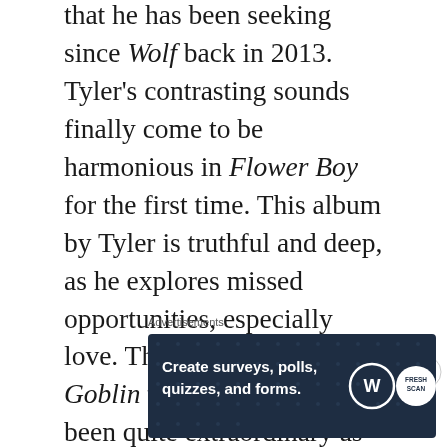that he has been seeking since Wolf back in 2013. Tyler's contrasting sounds finally come to be harmonious in Flower Boy for the first time. This album by Tyler is truthful and deep, as he explores missed opportunities, especially love. The journey from Goblin to Flower Boy has been quite extraordinary as Tyler has had time to delve into different genres and sounds each becoming more cohesive with time. This album is easily Tyler's greatest release to date and boasts a plethora of features which only further endorse Tyler's balanced sound. If Tyler, the Creator continues to perfect his balance of sound, the future seems bright for the Odd
Advertisements
[Figure (other): Advertisement banner with dark navy background showing WordPress and SurveyMonkey logos. Text reads: Create surveys, polls, quizzes, and forms.]